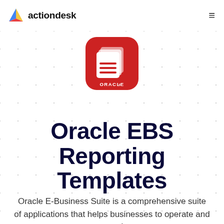actiondesk
[Figure (logo): Oracle E-Business Suite app icon — red rounded square with white stacked documents/pages icon and ORACLE text beneath]
Oracle EBS Reporting Templates
Oracle E-Business Suite is a comprehensive suite of applications that helps businesses to operate and grow. It